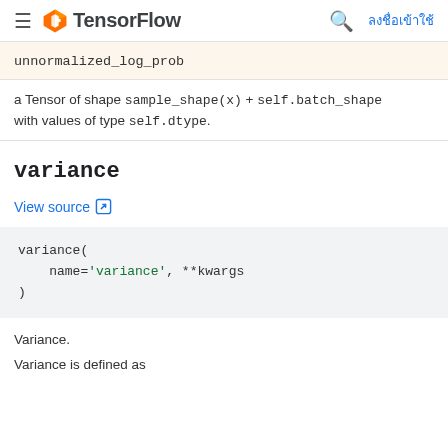TensorFlow
unnormalized_log_prob
a Tensor of shape sample_shape(x) + self.batch_shape with values of type self.dtype.
variance
View source
variance(
    name='variance', **kwargs
)
Variance.
Variance is defined as